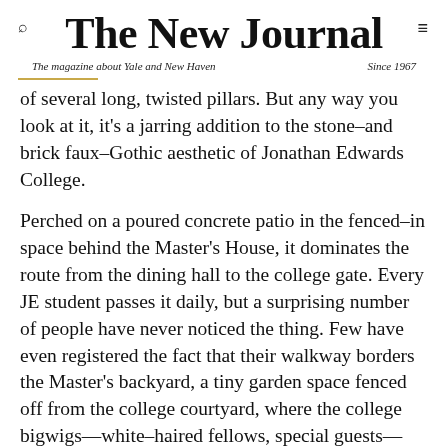The New Journal
The magazine about Yale and New Haven
Since 1967
of several long, twisted pillars. But any way you look at it, it's a jarring addition to the stone–and brick faux–Gothic aesthetic of Jonathan Edwards College.
Perched on a poured concrete patio in the fenced–in space behind the Master's House, it dominates the route from the dining hall to the college gate. Every JE student passes it daily, but a surprising number of people have never noticed the thing. Few have even registered the fact that their walkway borders the Master's backyard, a tiny garden space fenced off from the college courtyard, where the college bigwigs—white–haired fellows, special guests—mingle during the college's Thursday evening